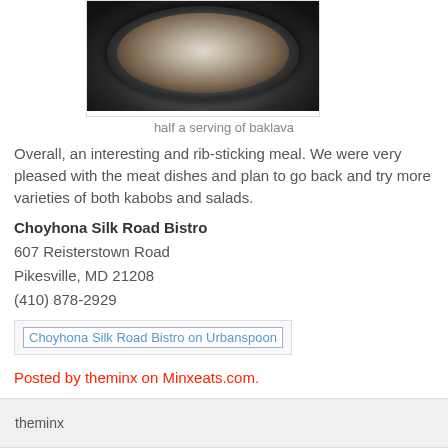[Figure (photo): Photo of half a serving of baklava on a decorative black and white plate]
half a serving of baklava
Overall, an interesting and rib-sticking meal. We were very pleased with the meat dishes and plan to go back and try more varieties of both kabobs and salads.
Choyhona Silk Road Bistro
607 Reisterstown Road
Pikesville, MD 21208
(410) 878-2929
[Figure (screenshot): Choyhona Silk Road Bistro on Urbanspoon badge/link]
Posted by theminx on Minxeats.com.
theminx